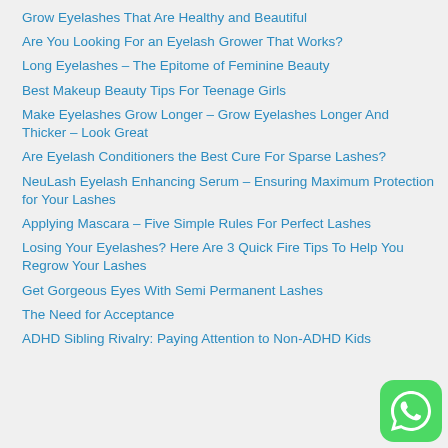Grow Eyelashes That Are Healthy and Beautiful
Are You Looking For an Eyelash Grower That Works?
Long Eyelashes – The Epitome of Feminine Beauty
Best Makeup Beauty Tips For Teenage Girls
Make Eyelashes Grow Longer – Grow Eyelashes Longer And Thicker – Look Great
Are Eyelash Conditioners the Best Cure For Sparse Lashes?
NeuLash Eyelash Enhancing Serum – Ensuring Maximum Protection for Your Lashes
Applying Mascara – Five Simple Rules For Perfect Lashes
Losing Your Eyelashes? Here Are 3 Quick Fire Tips To Help You Regrow Your Lashes
Get Gorgeous Eyes With Semi Permanent Lashes
The Need for Acceptance
ADHD Sibling Rivalry: Paying Attention to Non-ADHD Kids
[Figure (logo): WhatsApp logo icon - green rounded square with white phone/chat icon]